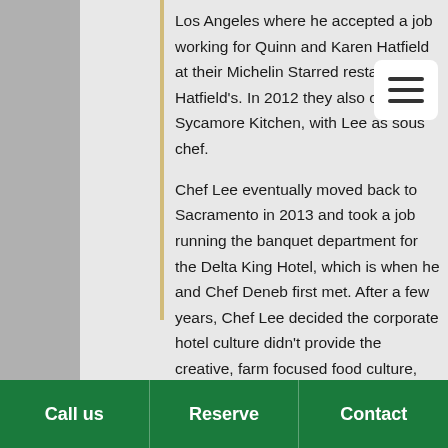Los Angeles where he accepted a job working for Quinn and Karen Hatfield at their Michelin Starred restaurant Hatfield's. In 2012 they also opened Sycamore Kitchen, with Lee as sous chef.
Chef Lee eventually moved back to Sacramento in 2013 and took a job running the banquet department for the Delta King Hotel, which is when he and Chef Deneb first met. After a few years, Chef Lee decided the corporate hotel culture didn't provide the creative, farm focused food culture, and environment he craved. Seeing Chef Deneb and Chef Joe's passion and dedication to the growth of the restaurant scene in Sacramento, Lee took a job working at Uptown Pizza Kitchen.  It wasn't long before Chef Deneb and Elizabeth Rose opened Allora in East Sacramento
Call us | Reserve | Contact